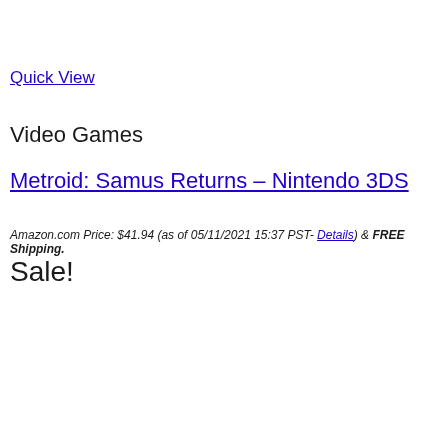Quick View
Video Games
Metroid: Samus Returns – Nintendo 3DS
Amazon.com Price: $41.94 (as of 05/11/2021 15:37 PST- Details) & FREE Shipping. Sale!